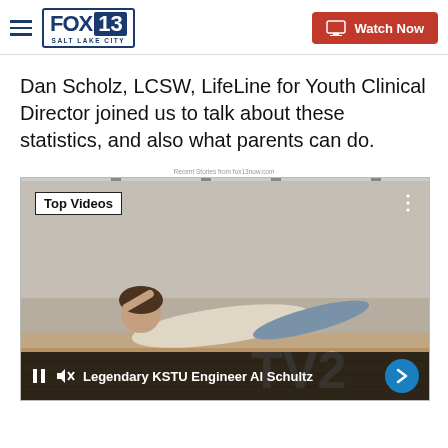FOX 13 SALT LAKE CITY — Watch Now
Dan Scholz, LCSW, LifeLine for Youth Clinical Director joined us to talk about these statistics, and also what parents can do.
Recent Stories from fox13now.com
[Figure (screenshot): Video player showing 'Top Videos' with a retro photo of a person lying down near a TV20 sign. Bottom bar reads: Legendary KSTU Engineer Al Schultz. Controls include pause, mute, and a blue arrow button.]